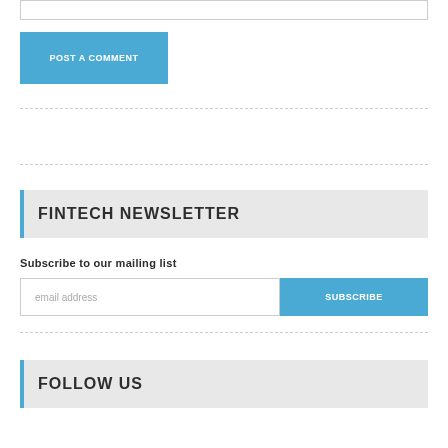POST A COMMENT
FINTECH NEWSLETTER
Subscribe to our mailing list
email address
SUBSCRIBE
FOLLOW US